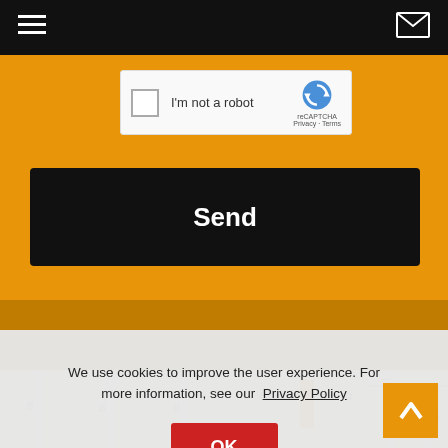Navigation bar with hamburger menu and mail icon
[Figure (screenshot): reCAPTCHA widget with checkbox labeled I'm not a robot]
Send
We use cookies to improve the user experience. For more information, see our Privacy Policy
OK
[Figure (map): Street map showing Blatt Ct, Prame Ct, and other streets]